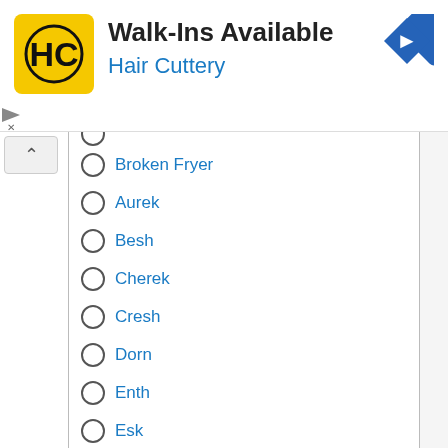[Figure (logo): Hair Cuttery advertisement banner with HC logo, 'Walk-Ins Available' heading, 'Hair Cuttery' subtitle, and navigation arrow icon]
Broken Fryer
Aurek
Besh
Cherek
Cresh
Dorn
Enth
Esk
Forn
Grek
Herf
Isk
Jenth
Kerenth
Krill
Leth